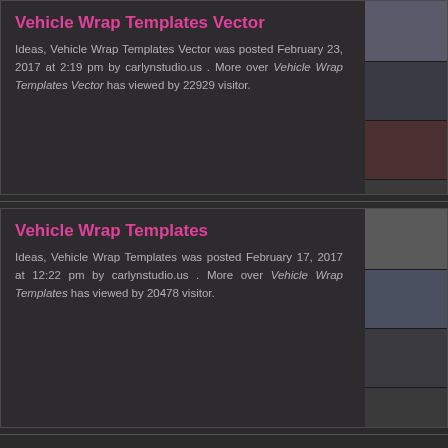Vehicle Wrap Templates Vector
Ideas, Vehicle Wrap Templates Vector was posted February 23, 2017 at 2:19 pm by carlynstudio.us . More over Vehicle Wrap Templates Vector has viewed by 22929 visitor.
[Figure (photo): Thumbnail images of vehicle wrap templates vector]
Vehicle Wrap Templates
Ideas, Vehicle Wrap Templates was posted February 17, 2017 at 12:22 pm by carlynstudio.us . More over Vehicle Wrap Templates has viewed by 20478 visitor.
[Figure (photo): Thumbnail images of vehicle wrap templates]
Contact Us | Disclaimer | Pr Carlynstudio.us © 2